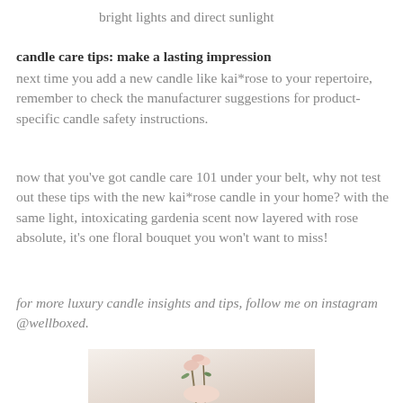bright lights and direct sunlight
candle care tips: make a lasting impression
next time you add a new candle like kai*rose to your repertoire, remember to check the manufacturer suggestions for product- specific candle safety instructions.
now that you've got candle care 101 under your belt, why not test out these tips with the new kai*rose candle in your home? with the same light, intoxicating gardenia scent now layered with rose absolute, it's one floral bouquet you won't want to miss!
for more luxury candle insights and tips, follow me on instagram @wellboxed.
[Figure (photo): Photo of a person holding delicate pink flowers with stems, soft white background, lifestyle/beauty aesthetic]